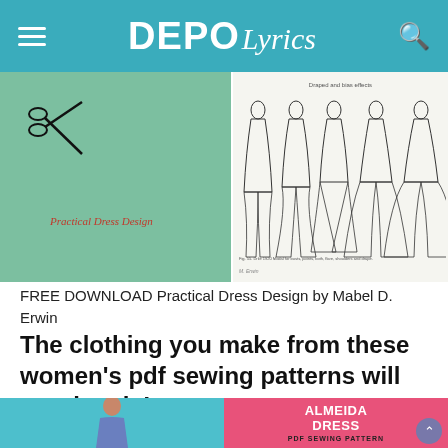DEPO Lyrics
[Figure (photo): Two images side by side: left shows a green book cover with scissors illustration and text 'Practical Dress Design'; right shows vintage fashion illustration with multiple women's dress designs]
FREE DOWNLOAD Practical Dress Design by Mabel D. Erwin
The clothing you make from these women's pdf sewing patterns will turn heads!
[Figure (photo): Bottom strip showing a woman in a floral dress on blue background (left) and a pink/coral card reading 'ALMEIDA DRESS PDF SEWING PATTERN' (right)]